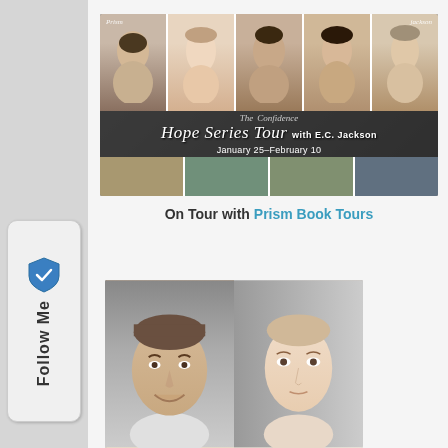[Figure (photo): Banner image for Hope Series Tour with E.C. Jackson by Prism Book Tours, January 25–February 10, showing five character faces in strip across top and landscape scenes below]
On Tour with Prism Book Tours
[Figure (photo): A man and a woman photographed together, man on left with short hair and smile, woman on right with hair pulled back]